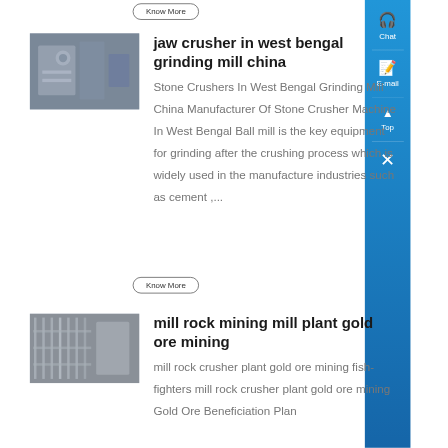Know More
[Figure (photo): Industrial jaw crusher machinery, grey tones]
jaw crusher in west bengal grinding mill china
Stone Crushers In West Bengal Grinding Mill China Manufacturer Of Stone Crusher Machine In West Bengal Ball mill is the key equipment for grinding after the crushing process which is widely used in the manufacture industries such as cement ,...
Know More
[Figure (photo): Industrial mill rock mining plant interior, structural framework visible]
mill rock mining mill plant gold ore mining
mill rock crusher plant gold ore mining fish-fighters mill rock crusher plant gold ore mining Gold Ore Beneficiation Plan